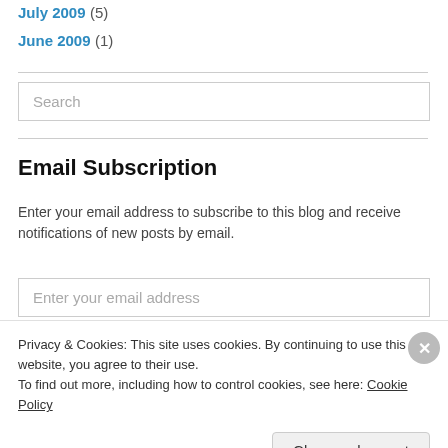July 2009 (5)
June 2009 (1)
Search
Email Subscription
Enter your email address to subscribe to this blog and receive notifications of new posts by email.
Enter your email address
Privacy & Cookies: This site uses cookies. By continuing to use this website, you agree to their use.
To find out more, including how to control cookies, see here: Cookie Policy
Close and accept